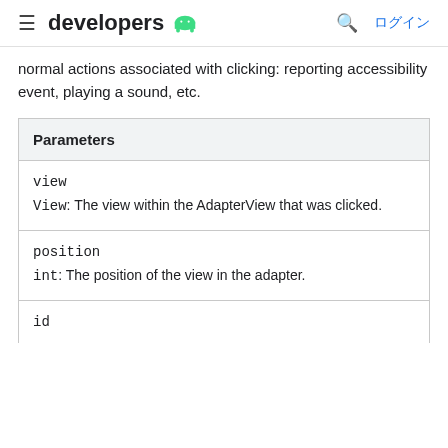developers [android logo] ログイン
normal actions associated with clicking: reporting accessibility event, playing a sound, etc.
| Parameters |
| --- |
| view | View: The view within the AdapterView that was clicked. |
| position | int: The position of the view in the adapter. |
| id |  |